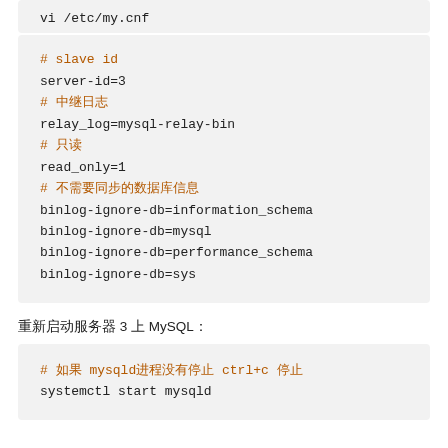vi /etc/my.cnf
# slave id
server-id=3
# 中继日志
relay_log=mysql-relay-bin
# 只读
read_only=1
# 不需要同步的数据库信息
binlog-ignore-db=information_schema
binlog-ignore-db=mysql
binlog-ignore-db=performance_schema
binlog-ignore-db=sys
重新启动服务器 3 上 MySQL：
# 如果 mysqld进程没有停止 ctrl+c 停止
systemctl start mysqld